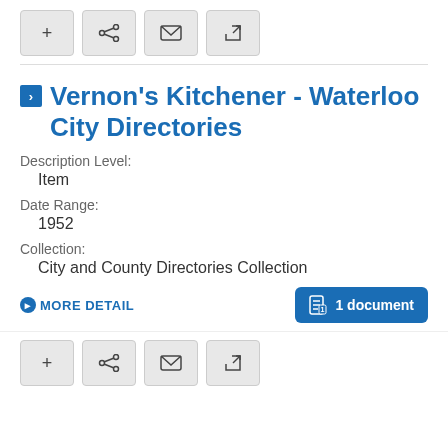[Figure (screenshot): Toolbar with four icon buttons: plus, share, email, external link]
Vernon's Kitchener - Waterloo City Directories
Description Level:
Item
Date Range:
1952
Collection:
City and County Directories Collection
MORE DETAIL
1 document
[Figure (screenshot): Bottom toolbar with four icon buttons: plus, share, email, external link]